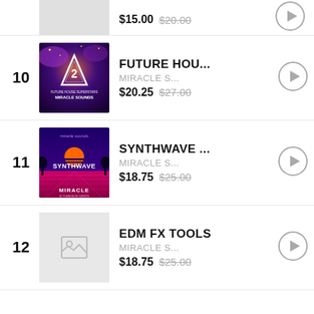Partial row top: $15.00 original $20.00
10. FUTURE HOU... | MIRACLE S... | $20.25 $27.00
11. SYNTHWAVE ... | MIRACLE S... | $18.75 $25.00
12. EDM FX TOOLS | MIRACLE S... | $18.75 $25.00